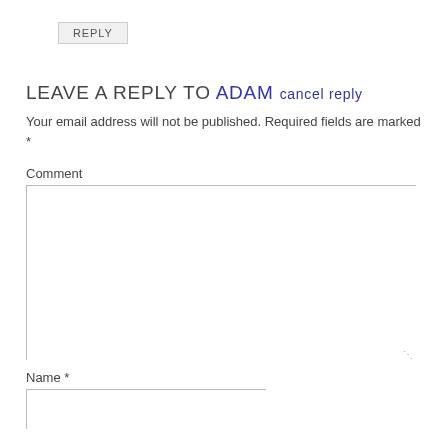REPLY
LEAVE A REPLY TO ADAM CANCEL REPLY
Your email address will not be published. Required fields are marked *
Comment
Name *